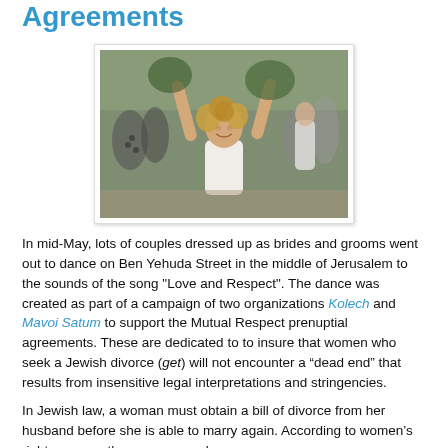Agreements
[Figure (photo): A woman with curly blonde hair in a white top raises her arms joyfully in a crowd of people dressed in white, apparently dancing outdoors.]
In mid-May, lots of couples dressed up as brides and grooms went out to dance on Ben Yehuda Street in the middle of Jerusalem to the sounds of the song "Love and Respect". The dance was created as part of a campaign of two organizations Kolech and Mavoi Satum to support the Mutual Respect prenuptial agreements. These are dedicated to to insure that women who seek a Jewish divorce (get) will not encounter a “dead end” that results from insensitive legal interpretations and stringencies.
In Jewish law, a woman must obtain a bill of divorce from her husband before she is able to marry again. According to women’s rights groups, there are several